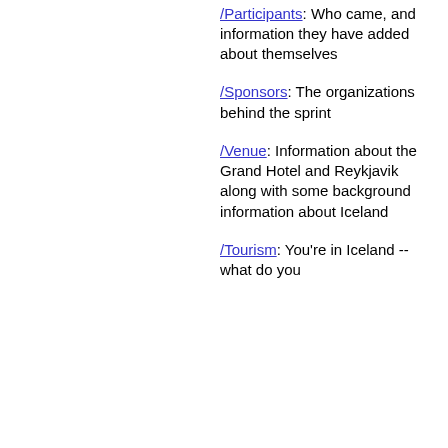/Toolsets: What should I install before I come?
/Participants: Who came, and information they have added about themselves
/Sponsors: The organizations behind the sprint
/Venue: Information about the Grand Hotel and Reykjavik along with some background information about Iceland
/Tourism: You're in Iceland -- what do you